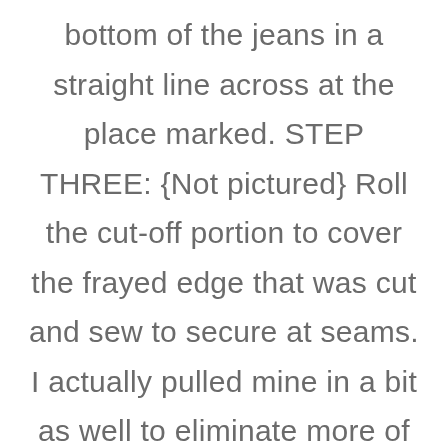bottom of the jeans in a straight line across at the place marked. STEP THREE: {Not pictured} Roll the cut-off portion to cover the frayed edge that was cut and sew to secure at seams. I actually pulled mine in a bit as well to eliminate more of the flare from the bootcut shape. Don't fear the sewing part–it's